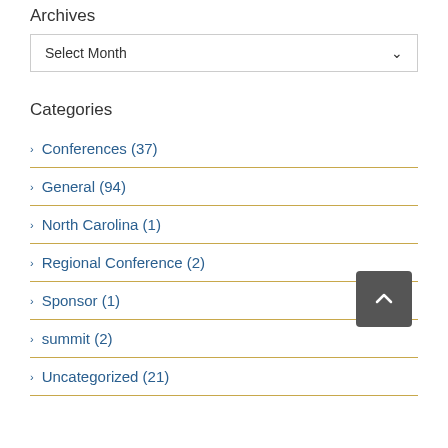Archives
Select Month
Categories
Conferences (37)
General (94)
North Carolina (1)
Regional Conference (2)
Sponsor (1)
summit (2)
Uncategorized (21)